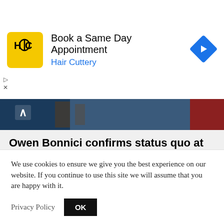[Figure (other): Hair Cuttery advertisement banner with logo and arrow icon. Text: Book a Same Day Appointment / Hair Cuttery]
[Figure (photo): Partial photo strip showing a dark blue background with a partial view of a scene]
Owen Bonnici confirms status quo at public broadcaster despite concerns
The government sent out a clear signal that it
The Shift Team
We use cookies to ensure we give you the best experience on our website. If you continue to use this site we will assume that you are happy with it.
Privacy Policy  OK